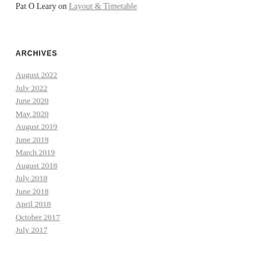Pat O Leary on Layout & Timetable
ARCHIVES
August 2022
July 2022
June 2020
May 2020
August 2019
June 2019
March 2019
August 2018
July 2018
June 2018
April 2018
October 2017
July 2017